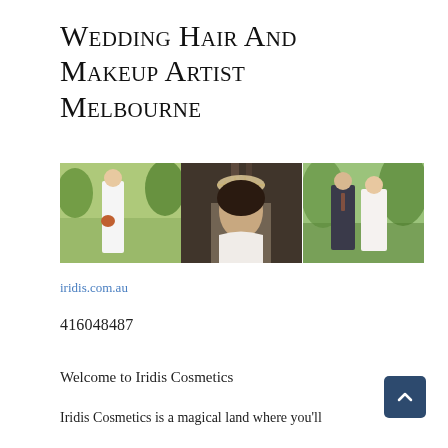Wedding Hair and Makeup Artist Melbourne
[Figure (photo): Three wedding photos side by side: a bride in white dress in a garden, a woman with decorative headpiece, and a couple in wedding attire outdoors.]
iridis.com.au
416048487
Welcome to Iridis Cosmetics
Iridis Cosmetics is a magical land where you'll